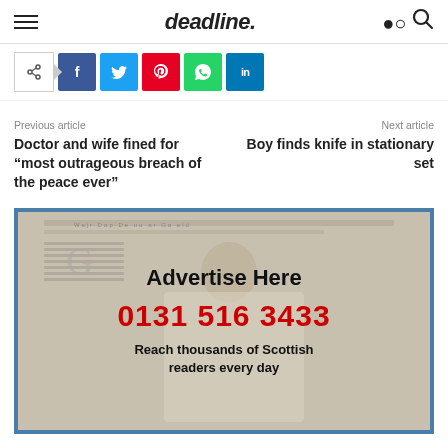deadline.
[Figure (infographic): Social share bar with share toggle icon, Facebook, Twitter, Pinterest, WhatsApp, and LinkedIn buttons]
Previous article
Doctor and wife fined for “most outrageous breach of the peace ever”
Next article
Boy finds knife in stationary set
[Figure (advertisement): Advertisement banner with person holding newspaper, text: Advertise Here, phone number 0131 516 3433, Reach thousands of Scottish readers every day]